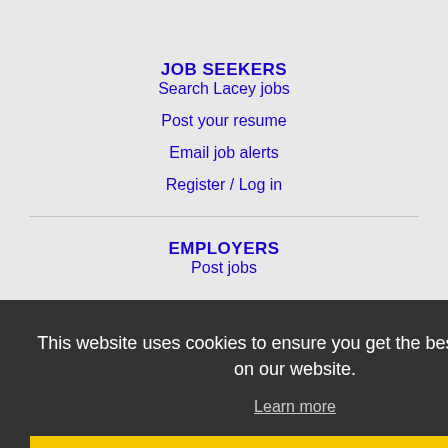JOB SEEKERS
Search Lacey jobs
Post your resume
Email job alerts
Register / Log in
EMPLOYERS
Post jobs
This website uses cookies to ensure you get the best experience on our website.
Learn more
Got it!
IMMIGRATION SPECIALISTS
Post jobs